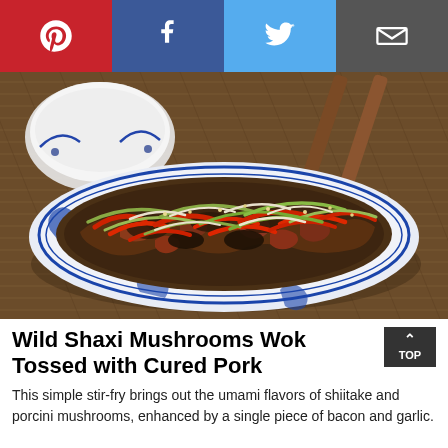[Figure (other): Social sharing bar with Pinterest (red), Facebook (dark blue), Twitter (light blue), and Email (dark gray) buttons with white icons]
[Figure (photo): A plate of Wild Shaxi mushrooms wok tossed with cured pork, served on a blue and white Chinese oval plate with chopsticks and bowls in the background on a woven mat]
Wild Shaxi Mushrooms Wok Tossed with Cured Pork
This simple stir-fry brings out the umami flavors of shiitake and porcini mushrooms, enhanced by a single piece of bacon and garlic.